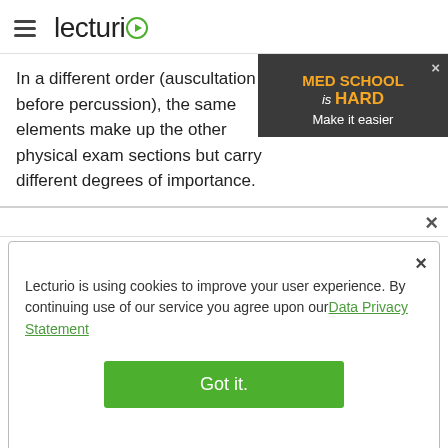lecturio
In a different order (auscultation before percussion), the same elements make up the other physical exam sections but carry different degrees of importance.
[Figure (screenshot): Dark popup banner reading: MED SCHOOL is HARD Make it easier — with a close (×) button in the top right corner.]
Lecturio is using cookies to improve your user experience. By continuing use of our service you agree upon our Data Privacy Statement
[Figure (screenshot): Green 'Got it.' button for cookie consent dialog.]
ideo and problem-solving stations with a last